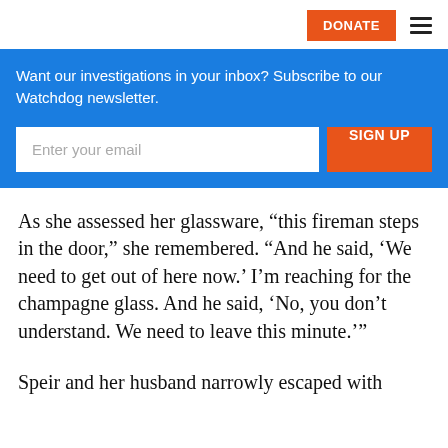DONATE
Want our investigations in your inbox? Subscribe to our Watchdog newsletter.
As she assessed her glassware, “this fireman steps in the door,” she remembered. “And he said, ‘We need to get out of here now.’ I’m reaching for the champagne glass. And he said, ‘No, you don’t understand. We need to leave this minute.’”
Speir and her husband narrowly escaped with